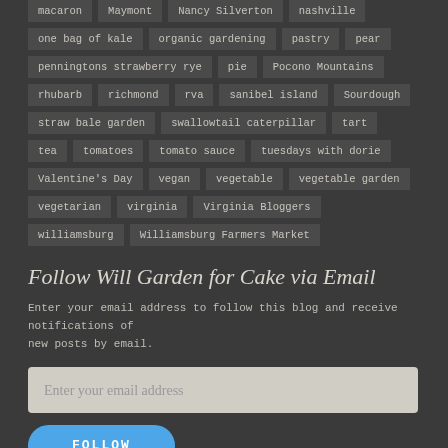macaron
Maymont
Nancy Silverton
nashville
one bag of kale
organic gardening
pastry
pear
penningtons strawberry rye
pie
Pocono Mountains
rhubarb
richmond
rva
sanibel island
Sourdough
straw bale garden
swallowtail caterpillar
tart
tea
tomatoes
tomato sauce
tuesdays with dorie
Valentine's Day
vegan
vegetable
vegetable garden
vegetarian
virginia
Virginia Bloggers
williamsburg
Williamsburg Farmers Market
Follow Will Garden for Cake via Email
Enter your email address to follow this blog and receive notifications of new posts by email.